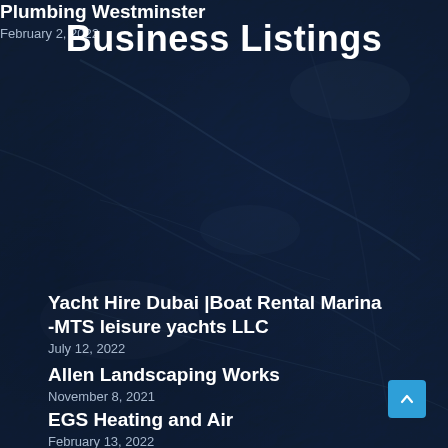Business Listings
Yacht Hire Dubai |Boat Rental Marina -MTS leisure yachts LLC
July 12, 2022
Allen Landscaping Works
November 8, 2021
EGS Heating and Air
February 13, 2022
Plumbing Westminster
February 2, 2022